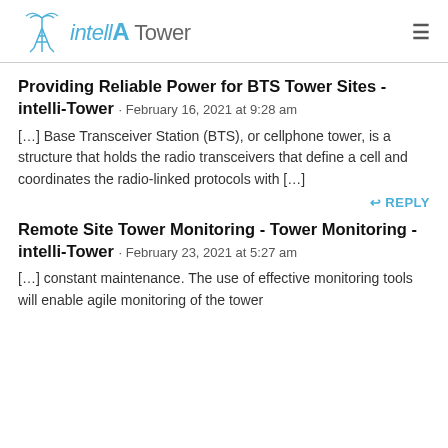intelliTower
Providing Reliable Power for BTS Tower Sites - intelli-Tower · February 16, 2021 at 9:28 am
[…] Base Transceiver Station (BTS), or cellphone tower, is a structure that holds the radio transceivers that define a cell and coordinates the radio-linked protocols with […]
↩ REPLY
Remote Site Tower Monitoring - Tower Monitoring - intelli-Tower · February 23, 2021 at 5:27 am
[…] constant maintenance. The use of effective monitoring tools will enable agile monitoring of the tower